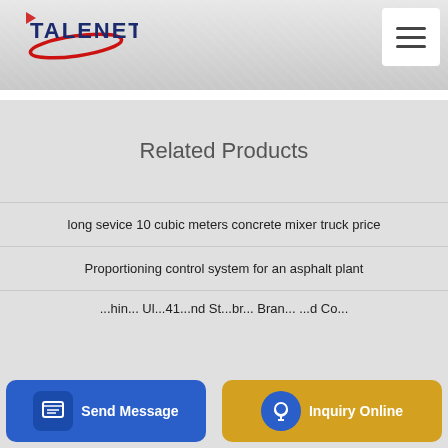[Figure (logo): Talenet logo with red swoosh and dark blue bold text TALENET]
[Figure (other): Hamburger menu icon button (three horizontal bars) in white box]
Related Products
long sevice 10 cubic meters concrete mixer truck price
Proportioning control system for an asphalt plant
...hin... Ul...41...nd St...br... Bran... ...d Co... R...
[Figure (other): Send Message button - blue rounded rectangle with document icon and white text]
[Figure (other): Inquiry Online button - gold/yellow rounded rectangle with blue circle headset icon and white text]